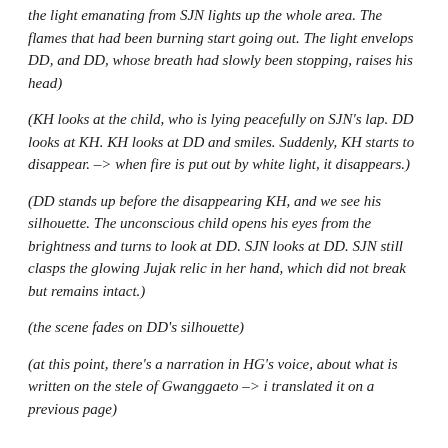the light emanating from SJN lights up the whole area. The flames that had been burning start going out. The light envelops DD, and DD, whose breath had slowly been stopping, raises his head)
(KH looks at the child, who is lying peacefully on SJN's lap. DD looks at KH. KH looks at DD and smiles. Suddenly, KH starts to disappear. –> when fire is put out by white light, it disappears.)
(DD stands up before the disappearing KH, and we see his silhouette. The unconscious child opens his eyes from the brightness and turns to look at DD. SJN looks at DD. SJN still clasps the glowing Jujak relic in her hand, which did not break but remains intact.)
(the scene fades on DD's silhouette)
(at this point, there's a narration in HG's voice, about what is written on the stele of Gwanggaeto –> i translated it on a previous page)